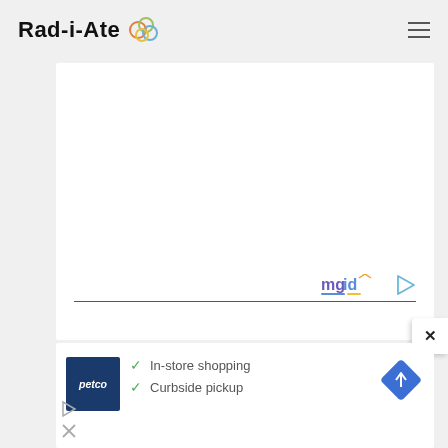Rad-i-Ate [logo icon] [hamburger menu]
[Figure (screenshot): White content card area with mgid logo watermark in bottom right and horizontal divider line]
[Figure (logo): mgid logo with colorful play button icon]
[Figure (screenshot): Petco advertisement banner showing Petco logo, checkmarks for In-store shopping and Curbside pickup, and a blue diamond navigation icon]
In-store shopping
Curbside pickup